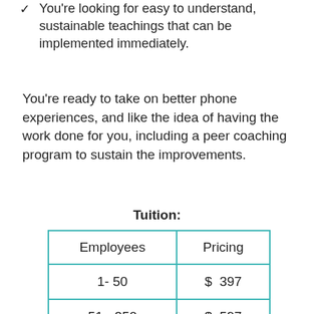✓ You're looking for easy to understand, sustainable teachings that can be implemented immediately.
You're ready to take on better phone experiences, and like the idea of having the work done for you, including a peer coaching program to sustain the improvements.
Tuition:
| Employees | Pricing |
| --- | --- |
| 1- 50 | $  397 |
| 51 - 250 | $  597 |
| 251 - 1000 | $  797 |